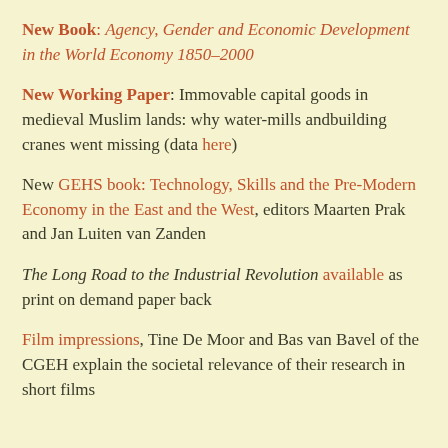New Book: Agency, Gender and Economic Development in the World Economy 1850–2000
New Working Paper: Immovable capital goods in medieval Muslim lands: why water-mills andbuilding cranes went missing (data here)
New GEHS book: Technology, Skills and the Pre-Modern Economy in the East and the West, editors Maarten Prak and Jan Luiten van Zanden
The Long Road to the Industrial Revolution available as print on demand paper back
Film impressions, Tine De Moor and Bas van Bavel of the CGEH explain the societal relevance of their research in short films